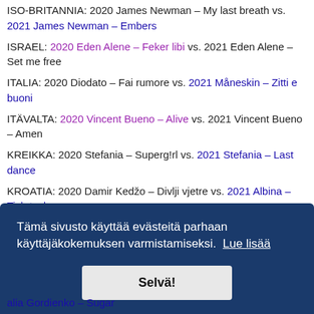ISO-BRITANNIA: 2020 James Newman – My last breath vs. 2021 James Newman – Embers
ISRAEL: 2020 Eden Alene – Feker libi vs. 2021 Eden Alene – Set me free
ITALIA: 2020 Diodato – Fai rumore vs. 2021 Måneskin – Zitti e buoni
ITÄVALTA: 2020 Vincent Bueno – Alive vs. 2021 Vincent Bueno – Amen
KREIKKA: 2020 Stefania – Superg!rl vs. 2021 Stefania – Last dance
KROATIA: 2020 Damir Kedžo – Divlji vjetre vs. 2021 Albina – Tick-tock
KYPROS: 2020 Sandro – Running vs. 2021 Elena Tsagrinou – El diablo
Tämä sivusto käyttää evästeitä parhaan käyttäjäkokemuksen varmistamiseksi. Lue lisää
Selvä!
...alia Gordienko – Sugar